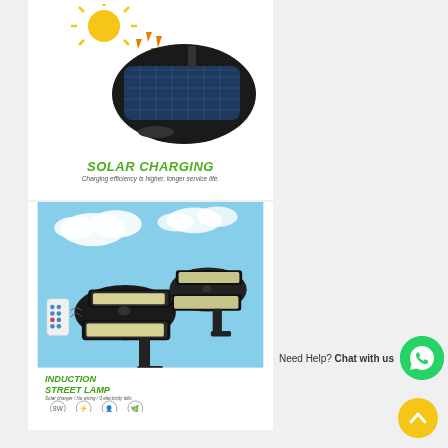[Figure (photo): Solar panel device with sun rays and orange arrows showing solar charging concept]
SOLAR CHARGING
Charging efficiency is higher, longer service life.
[Figure (photo): Induction street lamp product image showing two lamp units with remote control and feature icons]
INDUCTION STREET LAMP
Solar charger / No wiring / 0 electricity bills
Need Help? Chat with us